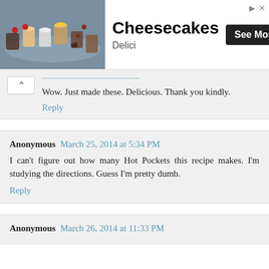[Figure (screenshot): Advertisement banner for Cheesecakes by Delici, showing food photos on left, title and See More button on right]
Wow. Just made these. Delicious. Thank you kindly.
Reply
Anonymous March 25, 2014 at 5:34 PM
I can't figure out how many Hot Pockets this recipe makes. I'm studying the directions. Guess I'm pretty dumb.
Reply
Anonymous March 26, 2014 at 11:33 PM